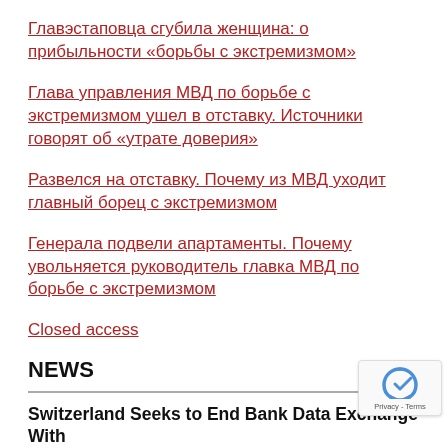Главэстаповца сгубила женщина: о прибыльности «борьбы с экстремизмом»
Глава управления МВД по борьбе с экстремизмом ушел в отставку. Источники говорят об «утрате доверия»
Развелся на отставку. Почему из МВД уходит главный борец с экстремизмом
Генерала подвели апартаменты. Почему увольняется руководитель главка МВД по борьбе с экстремизмом
Closed access
NEWS
Switzerland Seeks to End Bank Data Exchange With